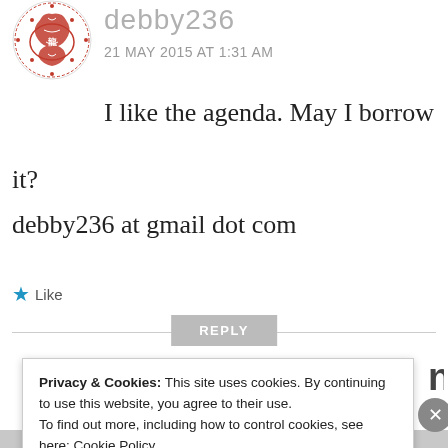[Figure (illustration): Round avatar with red Chinese dragon illustration on white background with decorative border]
debby236
21 MAY 2015 AT 1:31 AM
I like the agenda. May I borrow it?
debby236 at gmail dot com
★ Like
REPLY
Privacy & Cookies: This site uses cookies. By continuing to use this website, you agree to their use.
To find out more, including how to control cookies, see here: Cookie Policy
Close and accept